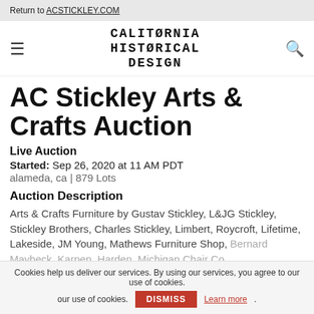Return to ACSTICKLEY.COM
[Figure (logo): California Historical Design logo text in decorative font, with hamburger menu icon on left and search icon on right]
AC Stickley Arts & Crafts Auction
Live Auction
Started: Sep 26, 2020 at 11 AM PDT
alameda, ca | 879 Lots
Auction Description
Arts & Crafts Furniture by Gustav Stickley, L&JG Stickley, Stickley Brothers, Charles Stickley, Limbert, Roycroft, Lifetime, Lakeside, JM Young, Mathews Furniture Shop, Bernard Maybeck, Karpen, Harden, Michigan Chair Co,
Cookies help us deliver our services. By using our services, you agree to our use of cookies. DISMISS Learn more.